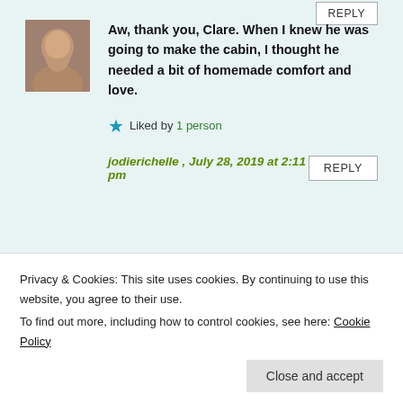Aw, thank you, Clare. When I knew he was going to make the cabin, I thought he needed a bit of homemade comfort and love.
Liked by 1 person
jodierichelle , July 28, 2019 at 2:11 pm
What a beautiful cabin! Really, it is a cabin among cabins. You
Privacy & Cookies: This site uses cookies. By continuing to use this website, you agree to their use.
To find out more, including how to control cookies, see here: Cookie Policy